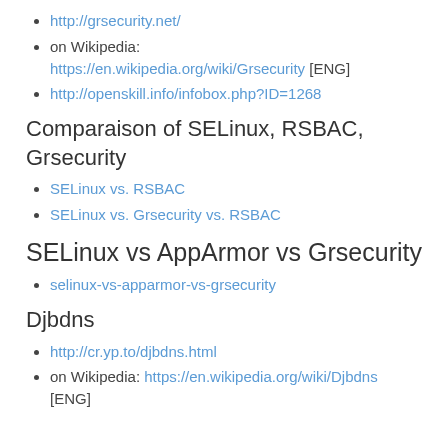http://grsecurity.net/
on Wikipedia: https://en.wikipedia.org/wiki/Grsecurity [ENG]
http://openskill.info/infobox.php?ID=1268
Comparaison of SELinux, RSBAC, Grsecurity
SELinux vs. RSBAC
SELinux vs. Grsecurity vs. RSBAC
SELinux vs AppArmor vs Grsecurity
selinux-vs-apparmor-vs-grsecurity
Djbdns
http://cr.yp.to/djbdns.html
on Wikipedia: https://en.wikipedia.org/wiki/Djbdns [ENG]